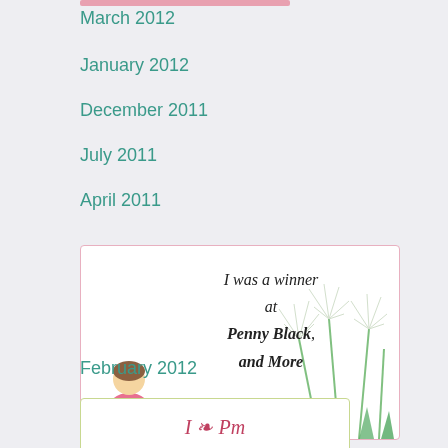[Figure (illustration): Pink horizontal bar at top of page]
March 2012
January 2012
December 2011
July 2011
April 2011
[Figure (illustration): Badge image with text 'I was a winner at Penny Black and More' with illustration of a girl and dandelions]
February 2012
[Figure (illustration): Partial badge image at bottom with cursive text, partially visible]